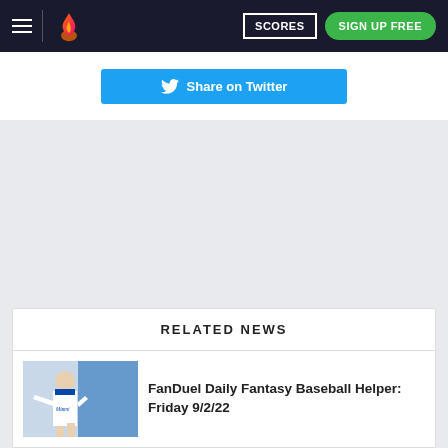= [logo] SCORES  SIGN UP FREE
[Figure (screenshot): Share on Twitter button (blue background with Twitter bird icon)]
RELATED NEWS
[Figure (photo): Miami baseball player pitching]
FanDuel Daily Fantasy Baseball Helper: Friday 9/2/22
[Figure (photo): Baseball batter swinging]
3 MLB FanDuel Studs to Target on Friday 9/2/22